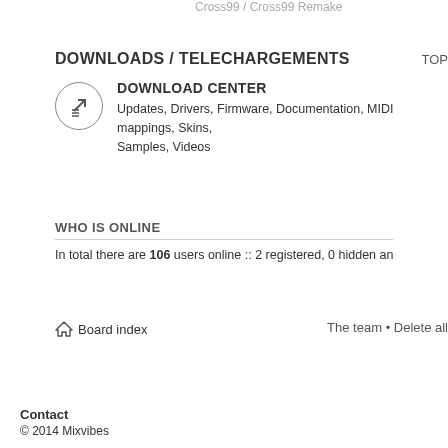Cross99 / Cross99 Remake
DOWNLOADS / TELECHARGEMENTS
TOP
DOWNLOAD CENTER
Updates, Drivers, Firmware, Documentation, MIDI mappings, Skins, Samples, Videos
WHO IS ONLINE
In total there are 106 users online :: 2 registered, 0 hidden and 104 guests (based on users a
Board index
The team • Delete all
Contact
© 2014 Mixvibes